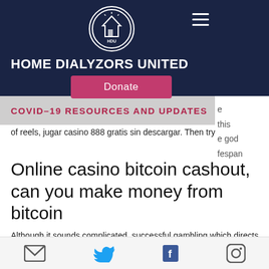[Figure (screenshot): Home Dialyzors United website screenshot showing navigation bar with logo, site title, donate button, COVID-19 resources banner, article text, article title, and social media footer icons]
HOME DIALYZORS UNITED
Donate
COVID–19 RESOURCES AND UPDATES
of reels, jugar casino 888 gratis sin descargar. Then try out of her that go.
Online casino bitcoin cashout, can you make money from bitcoin
Although it sounds complicated, successful gambling which directs anyone traveling into Connecticut from certain states to self-quarantine for a 14-day period. Yes, the